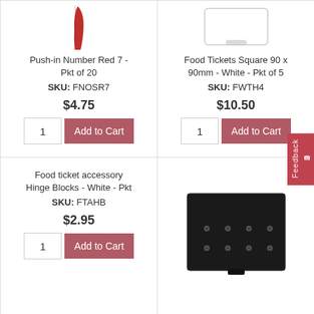[Figure (photo): Partial image of a red push-in number product (red curved strip visible at top)]
Push-in Number Red 7 - Pkt of 20
SKU: FNOSR7
$4.75
[Figure (photo): White food ticket square with rounded rectangle shape, shown from front]
Food Tickets Square 90 x 90mm - White - Pkt of 5
SKU: FWTH4
$10.50
Food ticket accessory Hinge Blocks - White - Pkt
SKU: FTAHB
$2.95
[Figure (photo): Black hinge block accessory for food tickets with mounting holes visible]